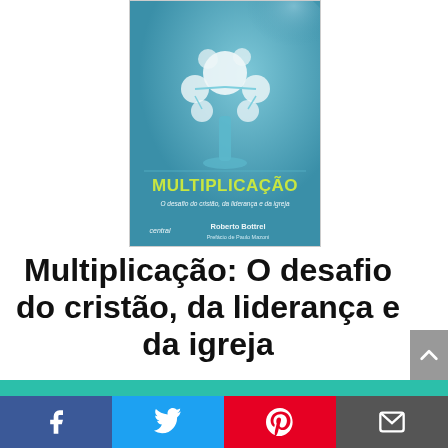[Figure (illustration): Book cover of 'Multiplicação: O desafio do cristão, da liderança e da igreja' by Roberto Bottrel. Teal/blue background with a stylized tree made of white circles, yellow-green title text 'MULTIPLICAÇÃO', subtitle 'O desafio do cristão, da liderança e da igreja', publisher 'central', author 'Roberto Bottrel', preface note 'Prefácio de Paulo Mazoni'.]
Multiplicação: O desafio do cristão, da liderança e da igreja
Verifique o preço na Amazon